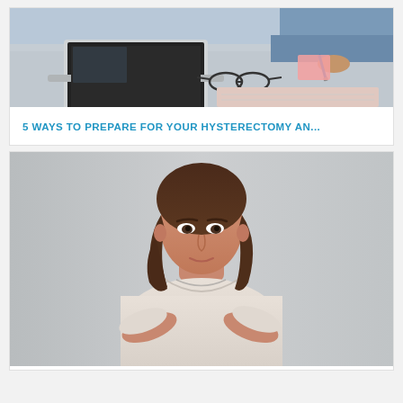[Figure (photo): Photo of a person at a desk with a laptop, writing on a sticky note, with glasses and a notebook visible on a grey desk surface.]
5 WAYS TO PREPARE FOR YOUR HYSTERECTOMY AN...
[Figure (photo): Photo of a middle-aged woman with brown hair wearing a white t-shirt, arms crossed, standing against a light grey background, looking at the camera with a neutral/confident expression.]